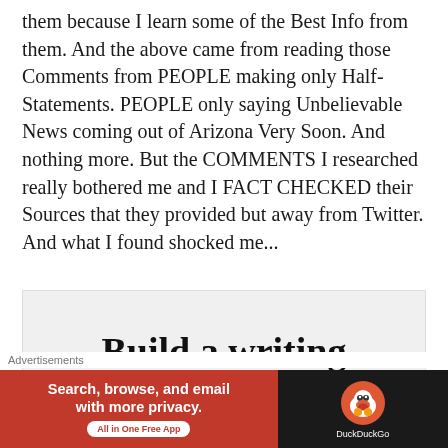them because I learn some of the Best Info from them. And the above came from reading those Comments from PEOPLE making only Half-Statements. PEOPLE only saying Unbelievable News coming out of Arizona Very Soon. And nothing more. But the COMMENTS I researched really bothered me and I FACT CHECKED their Sources that they provided but away from Twitter. And what I found shocked me...
Advertisements
[Figure (other): Advertisement box showing 'Build a writing' text in large serif font on light grey background]
Advertisements
[Figure (other): DuckDuckGo advertisement banner: red section with 'Search, browse, and email with more privacy. All in One Free App' and dark section with DuckDuckGo logo and name]